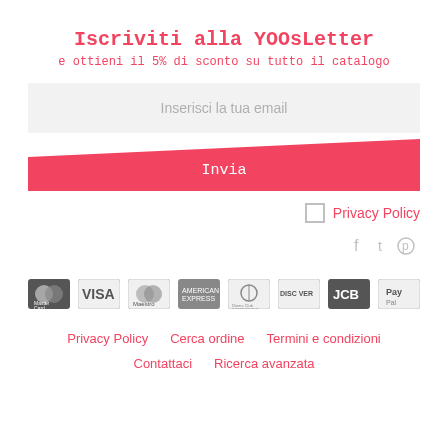Iscriviti alla YOOsLetter
e ottieni il 5% di sconto su tutto il catalogo
Inserisci la tua email
Invia
Privacy Policy
[Figure (other): Social media icons: Facebook, Twitter, Pinterest in gray]
[Figure (other): Payment method logos: MasterCard, VISA, Maestro, American Express, Diners Club International, Discover, JCB, PayPal]
Privacy Policy   Cerca ordine   Termini e condizioni
Contattaci   Ricerca avanzata